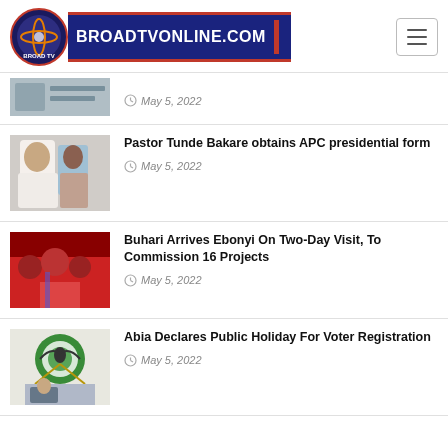[Figure (logo): BroadTVOnline.com website logo with circular icon and text banner]
May 5, 2022 (partial item, top of list)
Pastor Tunde Bakare obtains APC presidential form — May 5, 2022
Buhari Arrives Ebonyi On Two-Day Visit, To Commission 16 Projects — May 5, 2022
Abia Declares Public Holiday For Voter Registration — May 5, 2022